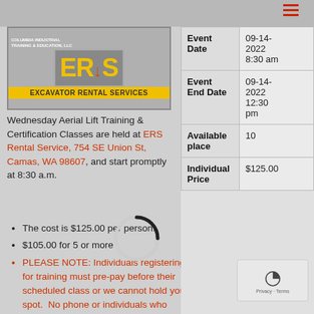[Figure (logo): Excavator Rental Services (ERS) logo with yellow letters on gray background and yellow bottom banner reading EXCAVATOR RENTAL SERVICES]
Wednesday Aerial Lift Training & Certification Classes are held at ERS Rental Service, 754 SE Union St, Camas, WA 98607, and start promptly at 8:30 a.m.
The cost is $125.00 per person.
$105.00 for 5 or more
PLEASE NOTE: Individuals registering for training must pre-pay before their scheduled class or we cannot hold your spot.  No phone or individuals who
| Label | Value |
| --- | --- |
| Event Date | 09-14-2022 8:30 am |
| Event End Date | 09-14-2022 12:30 pm |
| Available place | 10 |
| Individual Price | $125.00 |